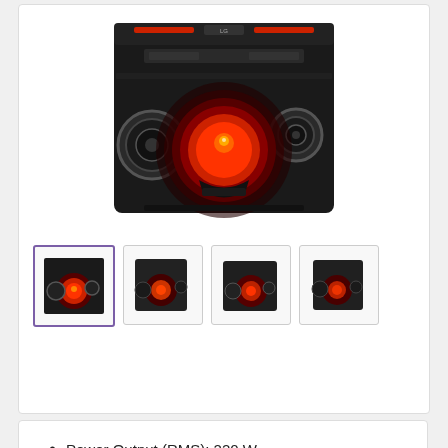[Figure (photo): LG audio system / boombox speaker with large central red-glowing woofer and two side speakers, black body, viewed from front]
[Figure (photo): Thumbnail 1 (selected/active): front view of LG speaker system, small]
[Figure (photo): Thumbnail 2: angled view of LG speaker system]
[Figure (photo): Thumbnail 3: side/angled view of LG speaker]
[Figure (photo): Thumbnail 4: closer angled view of LG speaker]
Power Output (RMS): 220 W
Power Source: AC Adapter
Bluetooth Version: 4